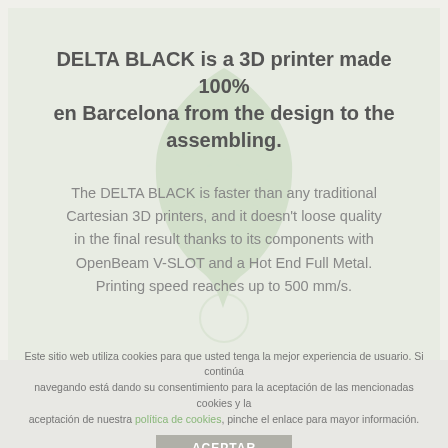DELTA BLACK is a 3D printer made 100% en Barcelona from the design to the assembling.
The DELTA BLACK is faster than any traditional Cartesian 3D printers, and it doesn't loose quality in the final result thanks to its components with OpenBeam V-SLOT and a Hot End Full Metal. Printing speed reaches up to 500 mm/s.
Este sitio web utiliza cookies para que usted tenga la mejor experiencia de usuario. Si continúa navegando está dando su consentimiento para la aceptación de las mencionadas cookies y la aceptación de nuestra política de cookies, pinche el enlace para mayor información.